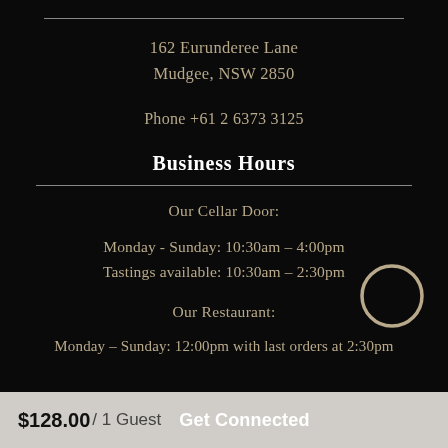162 Eurunderee Lane
Mudgee, NSW 2850
Phone +61 2 6373 3125
Business Hours
Our Cellar Door:
Monday - Sunday: 10:30am – 4:00pm
Tastings available: 10:30am – 2:30pm
Our Restaurant:
Monday – Sunday: 12:00pm with last orders at 2:30pm
$128.00 / 1 Guest  Get Connected